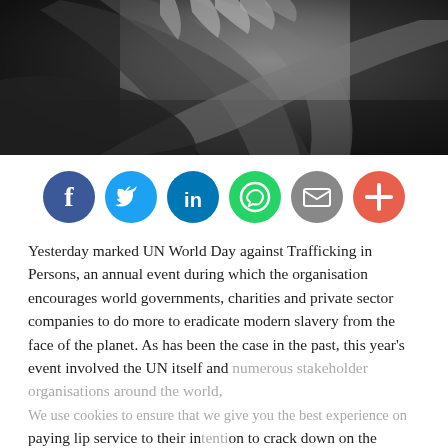[Figure (photo): Black and white close-up photo of a hand gripping or touching an arm/shoulder, suggesting distress or trafficking context]
[Figure (infographic): Social media sharing icons: Facebook (dark blue), Twitter (light blue), LinkedIn (blue), WhatsApp (green), Email (grey), More/Plus (orange-red)]
Yesterday marked UN World Day against Trafficking in Persons, an annual event during which the organisation encourages world governments, charities and private sector companies to do more to eradicate modern slavery from the face of the planet. As has been the case in the past, this year's event involved the UN itself and numerous stakeholder organisations around the world, paying lip service to their intention to crack down on the trafficking networks that profit from this evil and growing trade, without committing to any firm course of
We use cookies to ensure that we give you the best experience on